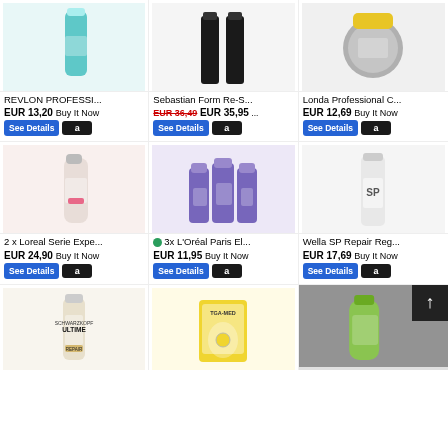[Figure (photo): REVLON PROFESSI... product bottle teal/blue]
REVLON PROFESSI...
EUR 13,20 Buy It Now
[Figure (photo): Sebastian Form Re-S... two black containers]
Sebastian Form Re-S...
EUR 36,49 EUR 35,95 ...
[Figure (photo): Londa Professional C... grey/yellow container]
Londa Professional C...
EUR 12,69 Buy It Now
[Figure (photo): 2 x Loreal Serie Expe... pink/beige bottle]
2 x Loreal Serie Expe...
EUR 24,90 Buy It Now
[Figure (photo): 3x L'Oréal Paris El... purple tubes set of three]
3x L'Oréal Paris El...
EUR 11,95 Buy It Now
[Figure (photo): Wella SP Repair Reg... tall white bottle]
Wella SP Repair Reg...
EUR 17,69 Buy It Now
[Figure (photo): Schwarzkopf Ultime product bottle]
[Figure (photo): TGA-MED product yellow bag]
[Figure (photo): Scroll up button with arrow, green bottle product]